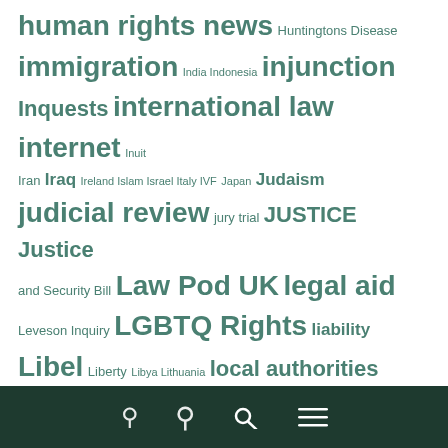[Figure (infographic): Tag cloud of legal topics in teal/green color on white background, showing terms like immigration, international law, judicial review, Law Pod UK, legal aid, LGBTQ Rights, mental capacity, Mental Health, modern slavery, NHS, Northern Ireland, parental rights, planning, and many more at varying font sizes indicating frequency/importance.]
Search and menu icons